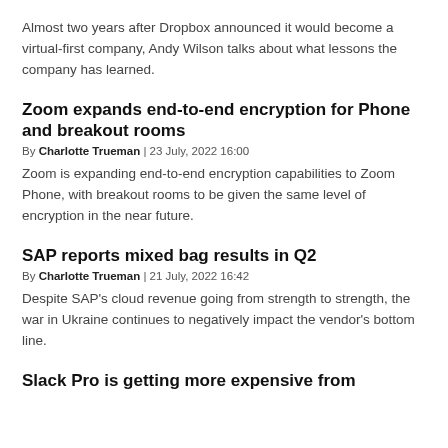Almost two years after Dropbox announced it would become a virtual-first company, Andy Wilson talks about what lessons the company has learned.
Zoom expands end-to-end encryption for Phone and breakout rooms
By Charlotte Trueman | 23 July, 2022 16:00
Zoom is expanding end-to-end encryption capabilities to Zoom Phone, with breakout rooms to be given the same level of encryption in the near future.
SAP reports mixed bag results in Q2
By Charlotte Trueman | 21 July, 2022 16:42
Despite SAP's cloud revenue going from strength to strength, the war in Ukraine continues to negatively impact the vendor's bottom line.
Slack Pro is getting more expensive from